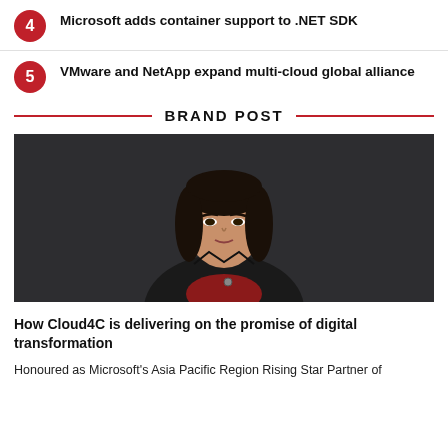4 Microsoft adds container support to .NET SDK
5 VMware and NetApp expand multi-cloud global alliance
BRAND POST
[Figure (photo): Professional headshot of an Asian woman in a black blazer and red top, against a dark background.]
How Cloud4C is delivering on the promise of digital transformation
Honoured as Microsoft's Asia Pacific Region Rising Star Partner of